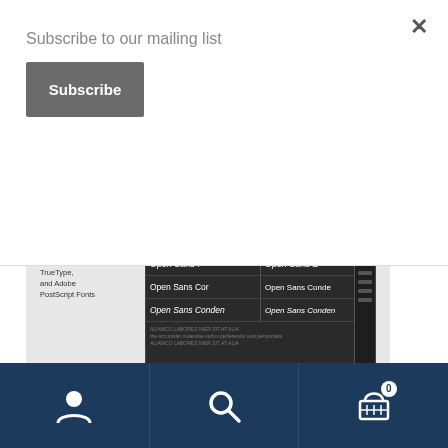Subscribe to our mailing list
Subscribe
×
[Figure (screenshot): Screenshot of FontExpert website showing navigation bar with PRODUCTS, DOWNLOADS, SUPPORT, BUY NOW, CONTACTS links; large heading 'manage fonts with FontExpert'; font manager description text; and a dark font preview panel showing Open Sans font variants]
[Figure (infographic): Dark blue bottom navigation bar with three icons: user/account icon, search/magnifying glass icon, and shopping cart icon with badge showing '0']